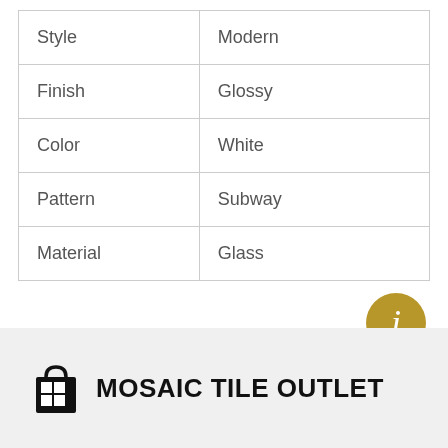| Style | Modern |
| Finish | Glossy |
| Color | White |
| Pattern | Subway |
| Material | Glass |
[Figure (logo): Mosaic Tile Outlet logo with shopping bag icon containing a grid pattern, and bold text reading MOSAIC TILE OUTLET]